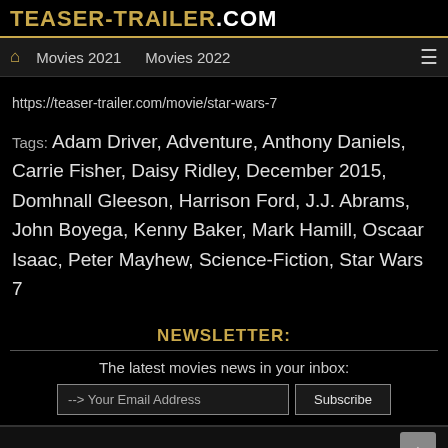TEASER-TRAILER.COM
Movies 2021   Movies 2022
https://teaser-trailer.com/movie/star-wars-7
Tags: Adam Driver, Adventure, Anthony Daniels, Carrie Fisher, Daisy Ridley, December 2015, Domhnall Gleeson, Harrison Ford, J.J. Abrams, John Boyega, Kenny Baker, Mark Hamill, Oscaar Isaac, Peter Mayhew, Science-Fiction, Star Wars 7
NEWSLETTER:
The latest movies news in your inbox:
--> Your Email Address   Subscribe
COMING SOON: